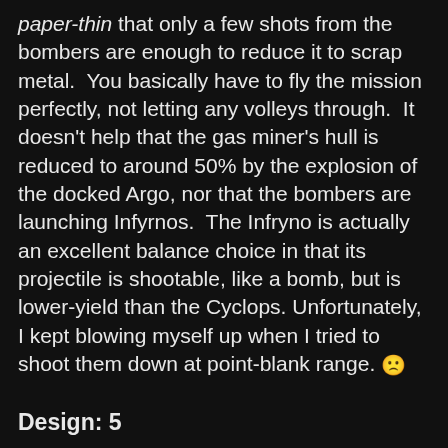paper-thin that only a few shots from the bombers are enough to reduce it to scrap metal. You basically have to fly the mission perfectly, not letting any volleys through. It doesn't help that the gas miner's hull is reduced to around 50% by the explosion of the docked Argo, nor that the bombers are launching Infyrnos. The Infryno is actually an excellent balance choice in that its projectile is shootable, like a bomb, but is lower-yield than the Cyclops. Unfortunately, I kept blowing myself up when I tried to shoot them down at point-blank range. 🙁
Design: 5
The design of this mission is actually really solid, despite its other weaknesses. The author clearly knows his way around FRED, and uses its features to great effect while avoiding the classic FRED pitfalls. The ships are well-placed on all three axes, there's a passive asteroid field to make things interesting, and the debriefing stages cover all